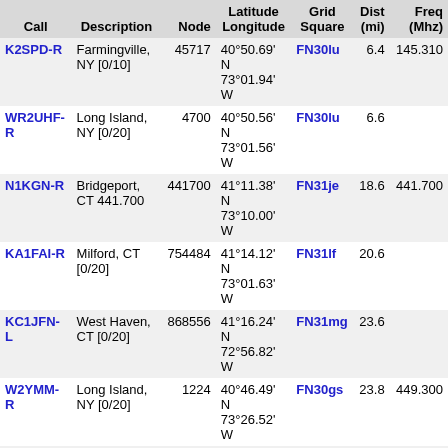| Call | Description | Node | Latitude
Longitude | Grid
Square | Dist
(mi) | Freq
(Mhz) |
| --- | --- | --- | --- | --- | --- | --- |
| K2SPD-R | Farmingville, NY [0/10] | 45717 | 40°50.69' N
73°01.94' W | FN30lu | 6.4 | 145.310 |
| WR2UHF-R | Long Island, NY [0/20] | 4700 | 40°50.56' N
73°01.56' W | FN30lu | 6.6 |  |
| N1KGN-R | Bridgeport, CT 441.700 | 441700 | 41°11.38' N
73°10.00' W | FN31je | 18.6 | 441.700 |
| KA1FAI-R | Milford, CT [0/20] | 754484 | 41°14.12' N
73°01.63' W | FN31lf | 20.6 |  |
| KC1JFN-L | West Haven, CT [0/20] | 868556 | 41°16.24' N
72°56.82' W | FN31mg | 23.6 |  |
| W2YMM-R | Long Island, NY [0/20] | 1224 | 40°46.49' N
73°26.52' W | FN30gs | 23.8 | 449.300 |
| W1EE-R | Stamford, CT. USA (1) | 320488 | 41°04.04' N
73°31.46' W | FN31fb | 26.7 | 146.655 |
| W6JTB-L | Mayville, NY [0/20] | 812171 | 40°59.46' N
72°31.98' W | FN30rx | 26.8 |  |
| W1SPC-R | Woodbridge, CT 147.505 | 7505 | 41°20.48' N
72°59.63' W | FN31mi | 28.0 | 147.505 |
| W1WPD-R | Woodbridge, CT 442.500 | 46633 | 41°20.48' N
72°59.62' W | FN31mi | 28.0 | 442.500 |
| N2PPN-L | Lawnguyland New Yawk | 8289 | 40°43.00' N
73°31.00' W | FN30fr | 29.2 | 223.860 |
| W0JAY-L | In Conference ... | 253035 | 41°24.69' N | FN31li | 29.7 |  |